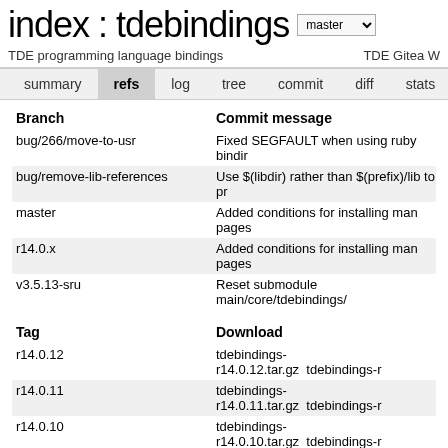index : tdebindings
TDE programming language bindings
TDE Gitea W
refs (navigation tab active)
| Branch | Commit message |
| --- | --- |
| bug/266/move-to-usr | Fixed SEGFAULT when using ruby bindir |
| bug/remove-lib-references | Use $(libdir) rather than $(prefix)/lib to pr |
| master | Added conditions for installing man pages |
| r14.0.x | Added conditions for installing man pages |
| v3.5.13-sru | Reset submodule main/core/tdebindings/ |
| Tag | Download |
| --- | --- |
| r14.0.12 | tdebindings-r14.0.12.tar.gz  tdebindings-r |
| r14.0.11 | tdebindings-r14.0.11.tar.gz  tdebindings-r |
| r14.0.10 | tdebindings-r14.0.10.tar.gz  tdebindings-r |
| r14.0.9 | tdebindings-r14.0.9.tar.gz   tdebindings-r1 |
| r14.0.8 | tdebindings-r14.0.8.tar.gz   tdebindings-r1 |
| r14.0.7 | tdebindings-r14.0.7.tar.gz   tdebindings-r1 |
| r14.0.6 | tdebindings-r14.0.6.tar.gz   tdebindings-r1 |
| r14.0.5 | tdebindings-r14.0.5.tar.gz   tdebindings-r1 |
| r14.0.4 | tdebindings-r14.0.4.tar.gz   tdebindings-r1 |
| r14.0.3 | tdebindings-r14.0.3.tar.gz   tdebindings-r |